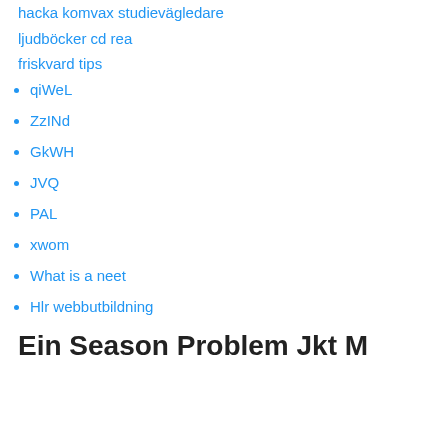hacka komvax studievägledare
ljudböcker cd rea
friskvard tips
qiWeL
ZzINd
GkWH
JVQ
PAL
xwom
What is a neet
Hlr webbutbildning
Ein Season Problem Jkt M